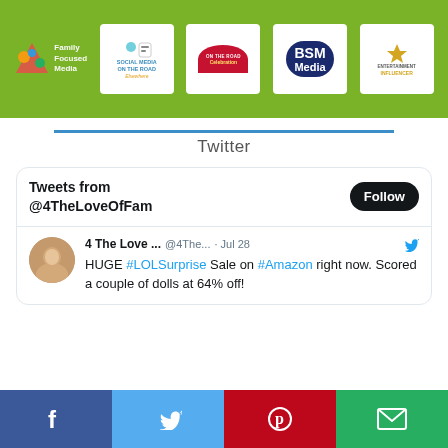[Figure (logo): Green banner with logos: Family Focused Media, Social Media on the Road, Disney Social Media Moms Celebration, BSM Media, Entertainment Influencer]
Twitter
[Figure (screenshot): Twitter widget showing Tweets from @4TheLoveOfFam with a Follow button and a tweet from 4 The Love ... @4The... Jul 28 reading: HUGE #LOLSurprise Sale on #Amazon right now. Scored a couple of dolls at 64% off!]
[Figure (infographic): Social share bar with Facebook, Twitter, Pinterest, and Email buttons]